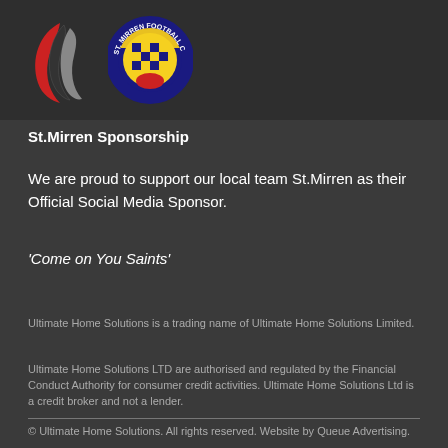[Figure (logo): Two logos side by side: Ultimate Home Solutions logo (black/red swoosh design) and St. Mirren Football Club circular badge (yellow and black checkered pattern with club name)]
St.Mirren Sponsorship
We are proud to support our local team St.Mirren as their Official Social Media Sponsor.
'Come on You Saints'
Ultimate Home Solutions is a trading name of Ultimate Home Solutions Limited.
Ultimate Home Solutions LTD are authorised and regulated by the Financial Conduct Authority for consumer credit activities. Ultimate Home Solutions Ltd is a credit broker and not a lender.
© Ultimate Home Solutions. All rights reserved. Website by Queue Advertising.